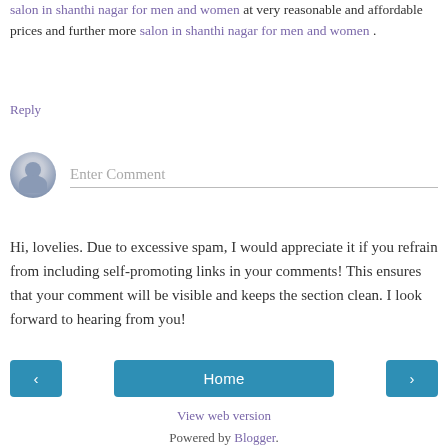salon in shanthi nagar for men and women at very reasonable and affordable prices and further more salon in shanthi nagar for men and women .
Reply
Enter Comment
Hi, lovelies. Due to excessive spam, I would appreciate it if you refrain from including self-promoting links in your comments! This ensures that your comment will be visible and keeps the section clean. I look forward to hearing from you!
Home
View web version
Powered by Blogger.